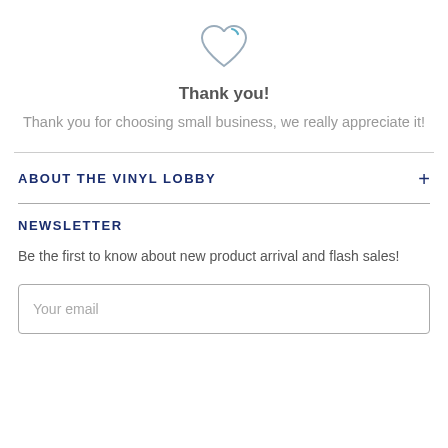[Figure (illustration): A heart outline icon in light gray/blue color]
Thank you!
Thank you for choosing small business, we really appreciate it!
ABOUT THE VINYL LOBBY
NEWSLETTER
Be the first to know about new product arrival and flash sales!
Your email